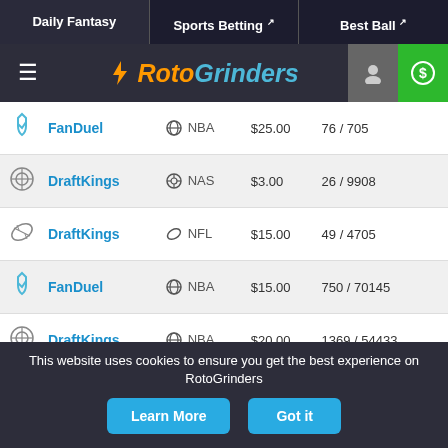Daily Fantasy | Sports Betting | Best Ball
[Figure (logo): RotoGrinders logo with hamburger menu, user icon, and deposit button]
| Site | Sport | Price | Entries |
| --- | --- | --- | --- |
| FanDuel | NBA | $25.00 | 76 / 705 |
| DraftKings | NAS | $3.00 | 26 / 9908 |
| DraftKings | NFL | $15.00 | 49 / 4705 |
| FanDuel | NBA | $15.00 | 750 / 70145 |
| DraftKings | NBA | $20.00 | 1369 / 54433 |
| DraftKings | PGA | $33.00 | 835 / 5300 |
| DraftKings | NBA | $20.00 | 613 / 23529 |
| DraftKings | NBA | $18.00 | 368 / 19607 |
This website uses cookies to ensure you get the best experience on RotoGrinders
Learn More
Got it